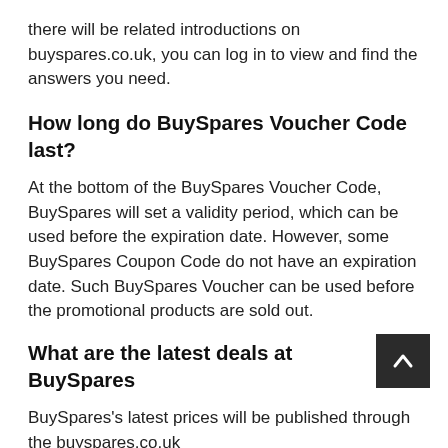there will be related introductions on buyspares.co.uk, you can log in to view and find the answers you need.
How long do BuySpares Voucher Code last?
At the bottom of the BuySpares Voucher Code, BuySpares will set a validity period, which can be used before the expiration date. However, some BuySpares Coupon Code do not have an expiration date. Such BuySpares Voucher can be used before the promotional products are sold out.
What are the latest deals at BuySparesâ
BuySpares's latest prices will be published through the buyspares.co.uk